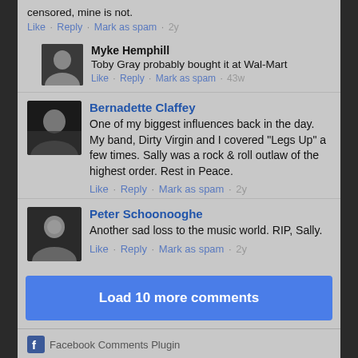censored, mine is not.
Like · Reply · Mark as spam · 2y
Myke Hemphill
Toby Gray probably bought it at Wal-Mart
Like · Reply · Mark as spam · 43w
Bernadette Claffey
One of my biggest influences back in the day. My band, Dirty Virgin and I covered "Legs Up" a few times. Sally was a rock & roll outlaw of the highest order. Rest in Peace.
Like · Reply · Mark as spam · 2y
Peter Schoonooghe
Another sad loss to the music world. RIP, Sally.
Like · Reply · Mark as spam · 2y
Load 10 more comments
Facebook Comments Plugin